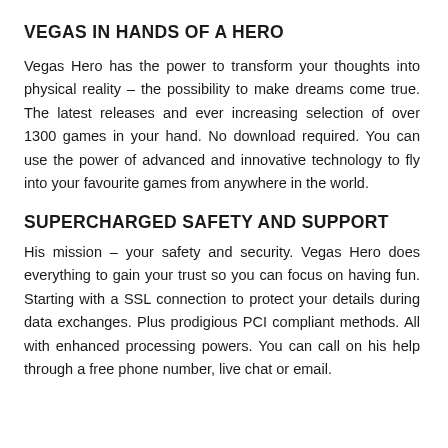VEGAS IN HANDS OF A HERO
Vegas Hero has the power to transform your thoughts into physical reality – the possibility to make dreams come true. The latest releases and ever increasing selection of over 1300 games in your hand. No download required. You can use the power of advanced and innovative technology to fly into your favourite games from anywhere in the world.
SUPERCHARGED SAFETY AND SUPPORT
His mission – your safety and security. Vegas Hero does everything to gain your trust so you can focus on having fun. Starting with a SSL connection to protect your details during data exchanges. Plus prodigious PCI compliant methods. All with enhanced processing powers. You can call on his help through a free phone number, live chat or email.